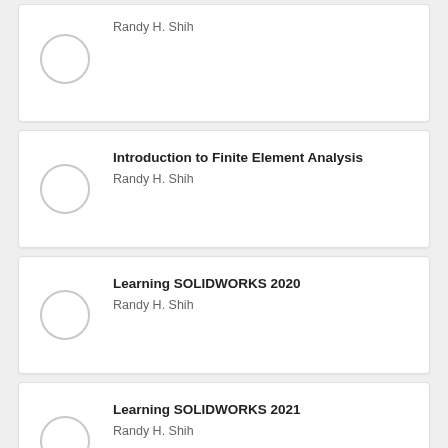Randy H. Shih
Introduction to Finite Element Analysis
Randy H. Shih
Learning SOLIDWORKS 2020
Randy H. Shih
Learning SOLIDWORKS 2021
Randy H. Shih
Parametric Modeling with Autodesk
Randy H. Shih